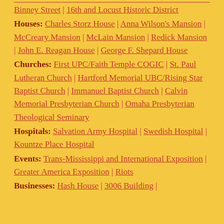Binney Street | 16th and Locust Historic District
Houses: Charles Storz House | Anna Wilson's Mansion | McCreary Mansion | McLain Mansion | Redick Mansion | John E. Reagan House | George F. Shepard House
Churches: First UPC/Faith Temple COGIC | St. Paul Lutheran Church | Hartford Memorial UBC/Rising Star Baptist Church | Immanuel Baptist Church | Calvin Memorial Presbyterian Church | Omaha Presbyterian Theological Seminary
Hospitals: Salvation Army Hospital | Swedish Hospital | Kountze Place Hospital
Events: Trans-Mississippi and International Exposition | Greater America Exposition | Riots
Businesses: Hash House | 3006 Building | Grand Theater | 2006 North 24th Street |